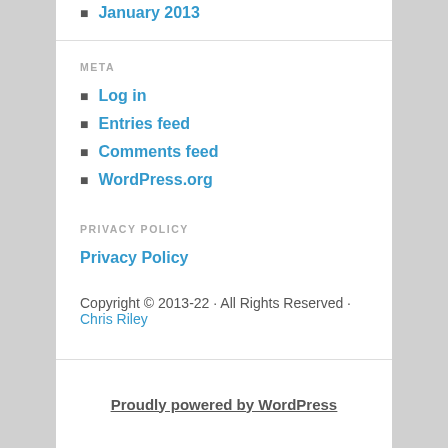January 2013
META
Log in
Entries feed
Comments feed
WordPress.org
PRIVACY POLICY
Privacy Policy
Copyright © 2013-22 · All Rights Reserved · Chris Riley
Proudly powered by WordPress